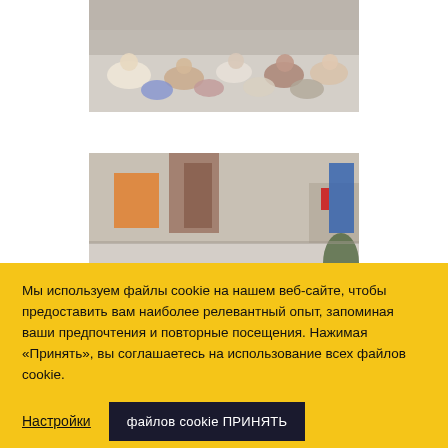[Figure (photo): Group of students sitting on the floor in a hallway or lobby, viewed from above at an angle]
[Figure (photo): Group of students sitting on the floor in a building lobby or corridor, with stairs and doors visible in the background]
Мы используем файлы cookie на нашем веб-сайте, чтобы предоставить вам наиболее релевантный опыт, запоминая ваши предпочтения и повторные посещения. Нажимая «Принять», вы соглашаетесь на использование всех файлов cookie.
Настройки
файлов cookie ПРИНЯТЬ